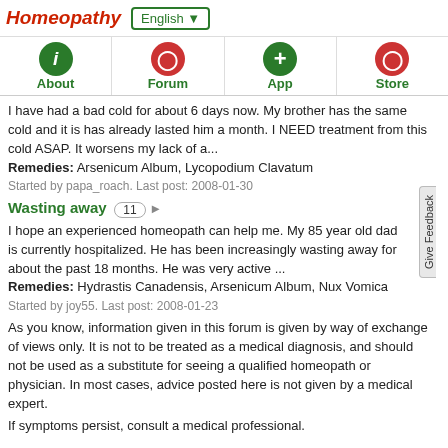Homeopathy  English
[Figure (screenshot): Navigation bar with About (green info icon), Forum (red i icon), App (green plus icon), Store (red i icon)]
I have had a bad cold for about 6 days now. My brother has the same cold and it is has already lasted him a month. I NEED treatment from this cold ASAP. It worsens my lack of a... Remedies: Arsenicum Album, Lycopodium Clavatum Started by papa_roach. Last post: 2008-01-30
Wasting away  11
I hope an experienced homeopath can help me. My 85 year old dad is currently hospitalized. He has been increasingly wasting away for about the past 18 months. He was very active ... Remedies: Hydrastis Canadensis, Arsenicum Album, Nux Vomica Started by joy55. Last post: 2008-01-23
As you know, information given in this forum is given by way of exchange of views only. It is not to be treated as a medical diagnosis, and should not be used as a substitute for seeing a qualified homeopath or physician. In most cases, advice posted here is not given by a medical expert.
If symptoms persist, consult a medical professional.